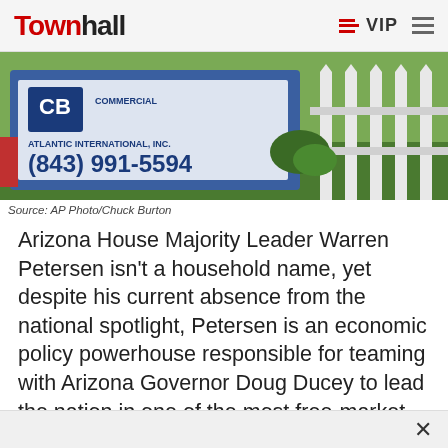Townhall | ≡VIP
[Figure (photo): A real estate sign for CB Commercial Atlantic International Inc. with phone number (843) 991-5594 in front of a white picket fence with greenery]
Source: AP Photo/Chuck Burton
Arizona House Majority Leader Warren Petersen isn't a household name, yet despite his current absence from the national spotlight, Petersen is an economic policy powerhouse responsible for teaming with Arizona Governor Doug Ducey to lead the nation in one of the most free-market reforms in U.S. history—universal occupational licensing.